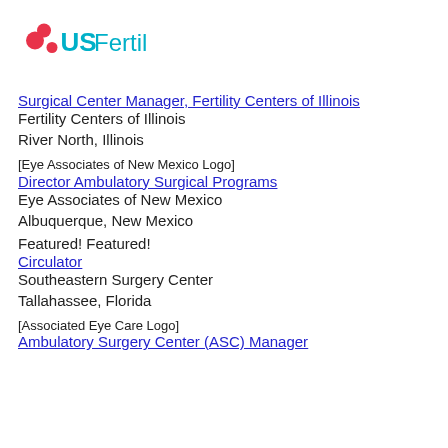[Figure (logo): USFertility logo with teal text and pink/red figure icon]
Surgical Center Manager, Fertility Centers of Illinois
Fertility Centers of Illinois
River North, Illinois
[Figure (logo): Eye Associates of New Mexico Logo (broken image placeholder)]
Director Ambulatory Surgical Programs
Eye Associates of New Mexico
Albuquerque, New Mexico
Featured! Featured!
Circulator
Southeastern Surgery Center
Tallahassee, Florida
[Figure (logo): Associated Eye Care Logo (broken image placeholder)]
Ambulatory Surgery Center (ASC) Manager